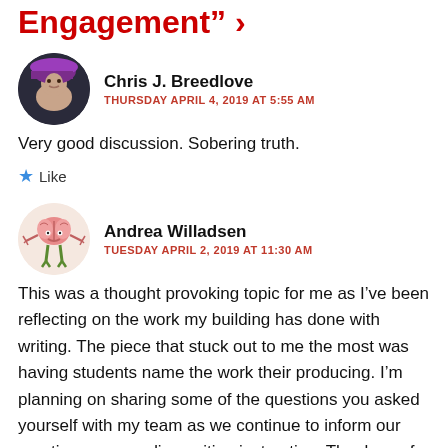Engagement" ›
[Figure (photo): Circular avatar of Chris J. Breedlove, woman with purple hat]
Chris J. Breedlove
THURSDAY APRIL 4, 2019 AT 5:55 AM
Very good discussion. Sobering truth.
Like
[Figure (illustration): Circular avatar of Andrea Willadsen, cartoon brain character with claws]
Andrea Willadsen
TUESDAY APRIL 2, 2019 AT 11:30 AM
This was a thought provoking topic for me as I’ve been reflecting on the work my building has done with writing. The piece that stuck out to me the most was having students name the work their producing. I’m planning on sharing some of the questions you asked yourself with my team as we continue to inform our practices surrounding writing instruction. Thank you for sharing!